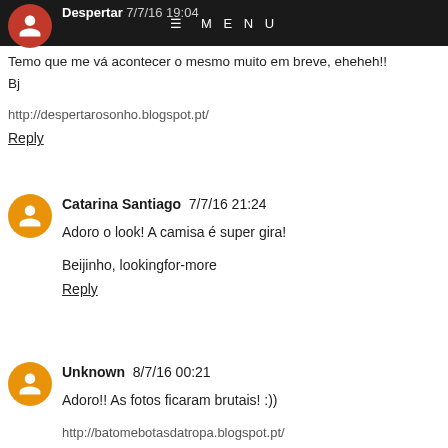≡ MENU
Despertar 7/7/16 19:04
Temo que me vá acontecer o mesmo muito em breve, eheheh!!
Bj

http://despertarosonho.blogspot.pt/
Reply
Catarina Santiago 7/7/16 21:24
Adoro o look! A camisa é super gira!

Beijinho, lookingfor-more
Reply
Unknown 8/7/16 00:21
Adoro!! As fotos ficaram brutais! :))

http://batomebotasdatropa.blogspot.pt/